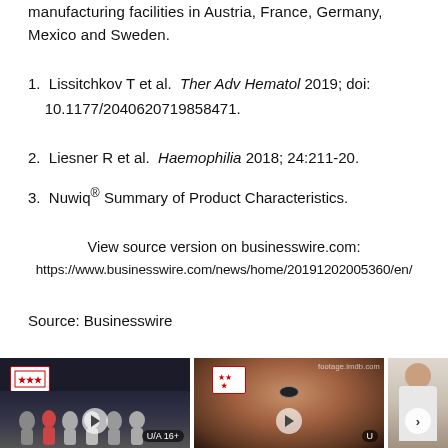manufacturing facilities in Austria, France, Germany, Mexico and Sweden.
1. Lissitchkov T et al. Ther Adv Hematol 2019; doi: 10.1177/2040620719858471.
2. Liesner R et al. Haemophilia 2018; 24:211-20.
3. Nuwiq® Summary of Product Characteristics.
View source version on businesswire.com:
https://www.businesswire.com/news/home/20191202005360/en/
Source: Businesswire
[Figure (photo): Three thumbnail images side by side: left shows a group of young people (band) in white outfits with a dark background and a U/A 16+ rating badge; middle shows a close-up of a person's face with a stars logo and U rating badge and footage.imdb.com watermark; right shows a woman in a white top partially visible.]